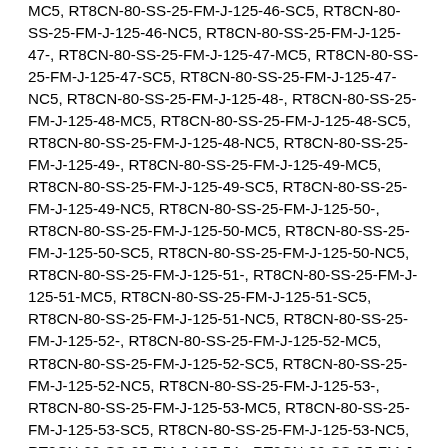MC5, RT8CN-80-SS-25-FM-J-125-46-SC5, RT8CN-80-SS-25-FM-J-125-46-NC5, RT8CN-80-SS-25-FM-J-125-47-, RT8CN-80-SS-25-FM-J-125-47-MC5, RT8CN-80-SS-25-FM-J-125-47-SC5, RT8CN-80-SS-25-FM-J-125-47-NC5, RT8CN-80-SS-25-FM-J-125-48-, RT8CN-80-SS-25-FM-J-125-48-MC5, RT8CN-80-SS-25-FM-J-125-48-SC5, RT8CN-80-SS-25-FM-J-125-48-NC5, RT8CN-80-SS-25-FM-J-125-49-, RT8CN-80-SS-25-FM-J-125-49-MC5, RT8CN-80-SS-25-FM-J-125-49-SC5, RT8CN-80-SS-25-FM-J-125-49-NC5, RT8CN-80-SS-25-FM-J-125-50-, RT8CN-80-SS-25-FM-J-125-50-MC5, RT8CN-80-SS-25-FM-J-125-50-SC5, RT8CN-80-SS-25-FM-J-125-50-NC5, RT8CN-80-SS-25-FM-J-125-51-, RT8CN-80-SS-25-FM-J-125-51-MC5, RT8CN-80-SS-25-FM-J-125-51-SC5, RT8CN-80-SS-25-FM-J-125-51-NC5, RT8CN-80-SS-25-FM-J-125-52-, RT8CN-80-SS-25-FM-J-125-52-MC5, RT8CN-80-SS-25-FM-J-125-52-SC5, RT8CN-80-SS-25-FM-J-125-52-NC5, RT8CN-80-SS-25-FM-J-125-53-, RT8CN-80-SS-25-FM-J-125-53-MC5, RT8CN-80-SS-25-FM-J-125-53-SC5, RT8CN-80-SS-25-FM-J-125-53-NC5, RT8CN-80-SS-25-FM-J-125-54-, RT8CN-80-SS-25-FM-J-125-54-MC5, RT8CN-80-SS-25-FM-J-125-54-SC5, RT8CN-80-SS-25-FM-J-125-54-NC5, RT8CN-80-SS-25-FM-J-125-55-, RT8CN-80-SS-25-FM-J-125-55-MC5, RT8CN-80-SS-25-FM-J-125-55-SC5, RT8CN-80-SS-25-FM-J-125-55-NC5, RT8CN-80-SS-25-FM-J-125-56-, RT8CN-80-SS-25-FM-J-125-56-MC5, RT8CN-80-SS-25-FM-J-125-56-SC5, RT8CN-80-SS-25-